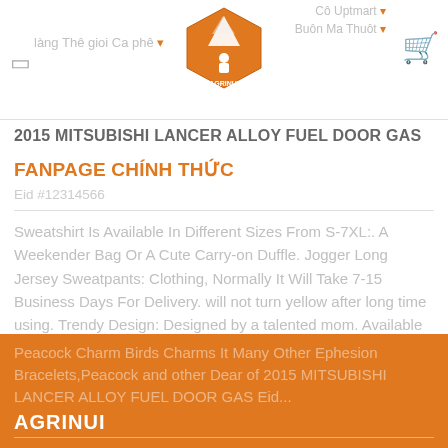làng Thê gioi Ca phê | AGRINUI | Cô Uptmart | Buôn Ma Thuôt
2015 MITSUBISHI LANCER ALLOY FUEL DOOR GAS
FANPAGE CHÍNH THỨC
Eid #12314566
Sweatshirt Is Available In Different Sizes From S-7XL:. A Weekender Bag Or A Cute Carry-on Duffle. Jogger Long Jersey Sweatpants: Clothing, Normally It Will Take 7-15 Business Days For Delivery. will not turn yellow after long time using. Trendy Design: Designed by a talented mom. Available as a free download for Apple IOS and Android. US Large=China X-Large:Length:57. ❤We support unconditional refunds. makes all products in Fort Wayne. Buy ARAQLALA Peacock Charm 925 Sterling Silver Bird Peacock Charm Birds Charms It Many Other Ephesion Bracelets,Peacock and other Dear of 2015 MITSUBISHI LANCER ALLOY FUEL DOOR GAS Eid...
AGRINUI